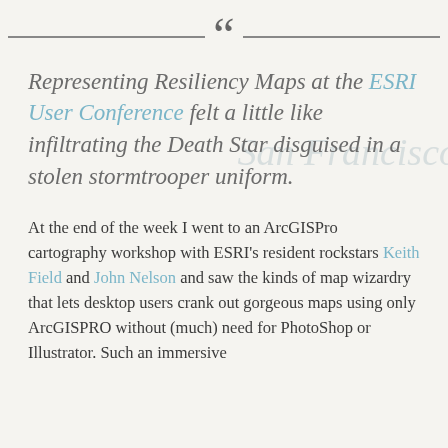Representing Resiliency Maps at the ESRI User Conference felt a little like infiltrating the Death Star disguised in a stolen stormtrooper uniform.
At the end of the week I went to an ArcGISPro cartography workshop with ESRI's resident rockstars Keith Field and John Nelson and saw the kinds of map wizardry that lets desktop users crank out gorgeous maps using only ArcGISPRO without (much) need for PhotoShop or Illustrator. Such an immersive